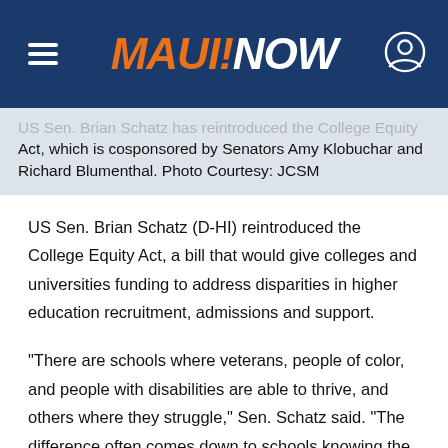MAUI NOW
US Sen. Brian Schatz has reintroduced the College Equity Act, which is cosponsored by Senators Amy Klobuchar and Richard Blumenthal. Photo Courtesy: JCSM
US Sen. Brian Schatz (D-HI) reintroduced the College Equity Act, a bill that would give colleges and universities funding to address disparities in higher education recruitment, admissions and support.
“There are schools where veterans, people of color, and people with disabilities are able to thrive, and others where they struggle,” Sen. Schatz said. “The difference often comes down to schools knowing the challenges that exist for students and doing